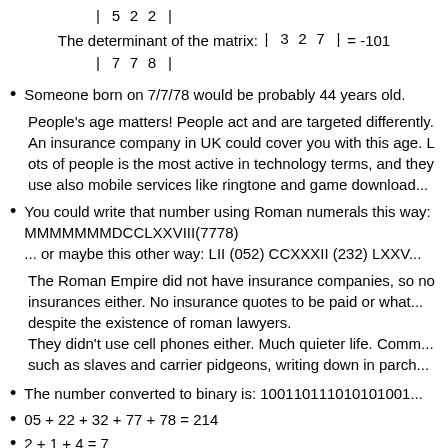Someone born on 7/7/78 would be probably 44 years old.
People's age matters! People act and are targeted differently. An insurance company in UK could cover you with this age. Lots of people is the most active in technology terms, and they use also mobile services like ringtone and game downloads.
You could write that number using Roman numerals this way: MMMMMMMDCCLXXVIII(7778) ... or maybe this other way: LII (052) CCXXXII (232) LXXV...
The Roman Empire did not have insurance companies, so no insurances either. No insurance quotes to be paid or whatsoever, despite the existence of roman lawyers.
They didn't use cell phones either. Much quieter life. Communication such as slaves and carrier pidgeons, writing down in parch...
The number converted to binary is: 100110111010101001...
05 + 22 + 32 + 77 + 78 = 214
2 + 1 + 4 = 7